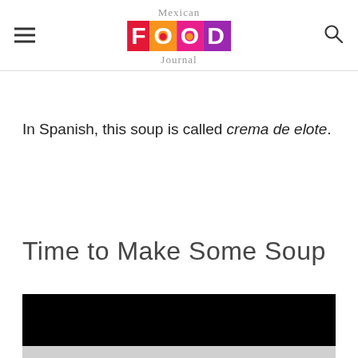Mexican Food Journal
In Spanish, this soup is called crema de elote.
Time to Make Some Soup
[Figure (screenshot): Video player area with black top bar and gray bottom section with circular play button]